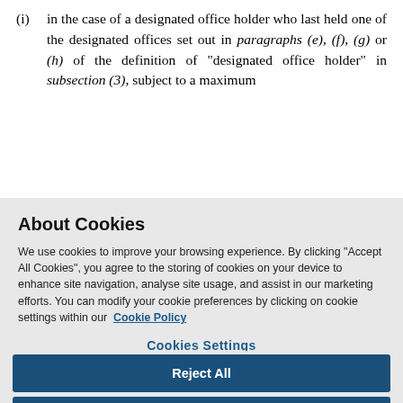(i) in the case of a designated office holder who last held one of the designated offices set out in paragraphs (e), (f), (g) or (h) of the definition of "designated office holder" in subsection (3), subject to a maximum
About Cookies
We use cookies to improve your browsing experience. By clicking “Accept All Cookies”, you agree to the storing of cookies on your device to enhance site navigation, analyse site usage, and assist in our marketing efforts. You can modify your cookie preferences by clicking on cookie settings within our  Cookie Policy
Cookies Settings
Reject All
Accept All Cookies